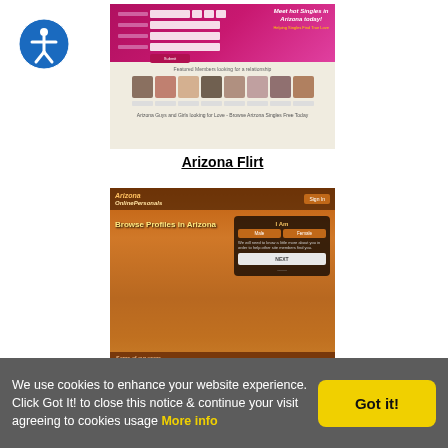[Figure (screenshot): Screenshot of Arizona Flirt dating website with pink design, profile photos of members, and 'Meet Hot Singles in Arizona today' tagline]
Arizona Flirt
[Figure (screenshot): Screenshot of Arizona Online Personals website with Grand Canyon background image, 'Browse Profiles in Arizona' heading, and 'I Am' form with Some of our users section]
Arizona Online Personals
We use cookies to enhance your website experience. Click Got It! to close this notice & continue your visit agreeing to cookies usage More info
Got it!